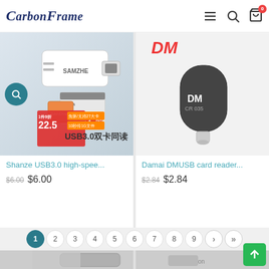CarbonFrame
[Figure (screenshot): Product image: Shanze USB3.0 card reader with SD card and USB adapter, white device with SanDisk memory cards]
Shanze USB3.0 high-spee...
$6.00 $6.00
[Figure (screenshot): Product image: Damai DM USB card reader CR035, black cylindrical device]
Damai DMUSB card reader...
$2.84 $2.84
Pagination: 1 2 3 4 5 6 7 8 9 > >|
[Figure (screenshot): Bottom strip: partial product images visible at page bottom - gray card reader and Kingston USB device]